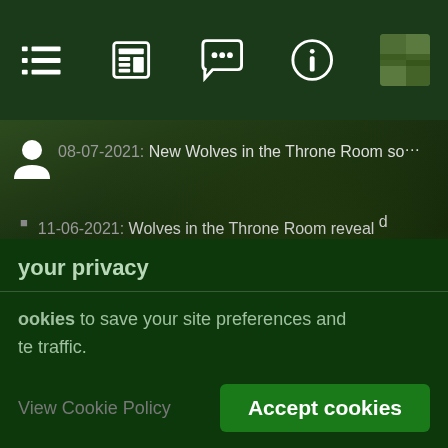Navigation bar with icons: list, news, chat, info, user image
08-07-2021: New Wolves in the Throne Room so…
11-06-2021: Wolves in the Throne Room reveal upcoming album
your privacy
ookies to save your site preferences and te traffic.
View Cookie Policy
Accept cookies